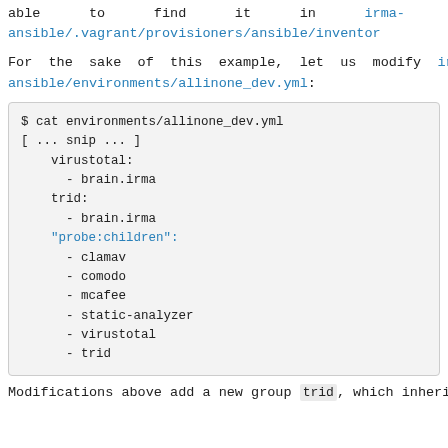able to find it in irma-ansible/.vagrant/provisioners/ansible/inventor
For the sake of this example, let us modify irma-ansible/environments/allinone_dev.yml:
$ cat environments/allinone_dev.yml
[ ... snip ... ]
    virustotal:
      - brain.irma
    trid:
      - brain.irma
    "probe:children":
      - clamav
      - comodo
      - mcafee
      - static-analyzer
      - virustotal
      - trid
Modifications above add a new group trid, which inherits from the group probe as specified in the probe:children list. A single host, brain.irma,